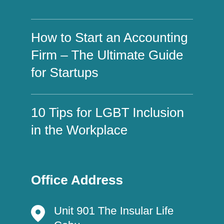How to Start an Accounting Firm – The Ultimate Guide for Startups
10 Tips for LGBT Inclusion in the Workplace
Office Address
Unit 901 The Insular Life Cebu